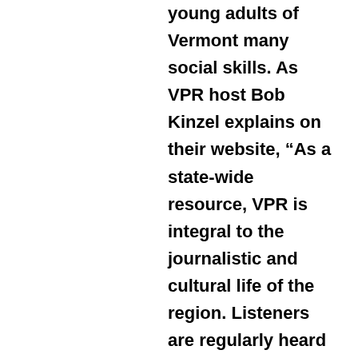young adults of Vermont many social skills. As VPR host Bob Kinzel explains on their website, “As a state-wide resource, VPR is integral to the journalistic and cultural life of the region. Listeners are regularly heard on VPR, via call-in conversations on the daily noon newsmagazine Vermont Edition. Although it may have grown in size, VPR is still driven by its original mission: to extend involvement in contemporary affairs through programming that provides context to the events of today and the impact they